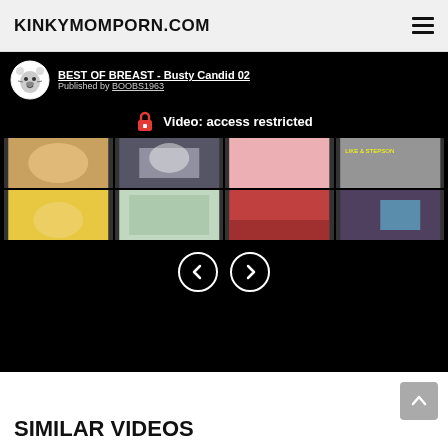KINKYMOMPORN.COM
[Figure (screenshot): Video player showing 'BEST OF BREAST - Busty Candid 02' published by BOOBS1963, with access restricted message and thumbnail grid, navigation arrows]
SIMILAR VIDEOS